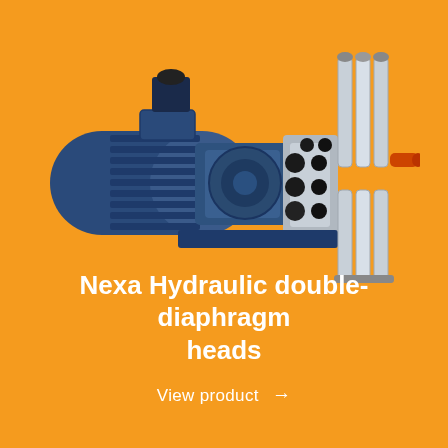[Figure (photo): Industrial blue hydraulic double-diaphragm pump with motor on left and multi-head assembly with silver cylinders and black fittings on right, photographed on orange background.]
Nexa Hydraulic double-diaphragm heads
View product →